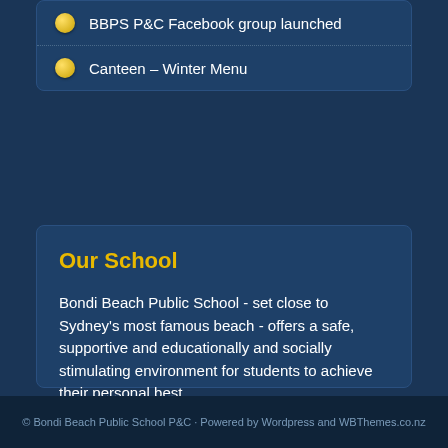BBPS P&C Facebook group launched
Canteen – Winter Menu
Our School
Bondi Beach Public School - set close to Sydney's most famous beach - offers a safe, supportive and educationally and socially stimulating environment for students to achieve their personal best.
The P&C is an important part of the school alongside the dedicated teachers, staff and families. The P&C's mission is to help make the school the best it can be.
© Bondi Beach Public School P&C · Powered by Wordpress and WBThemes.co.nz